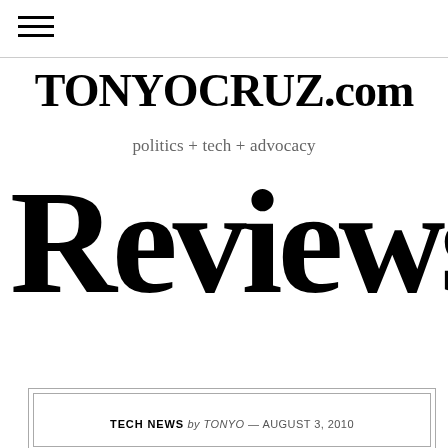☰ (hamburger menu icon)
TONYOCRUZ.com
politics + tech + advocacy
Reviews
TECH NEWS by TONYO — AUGUST 3, 2010